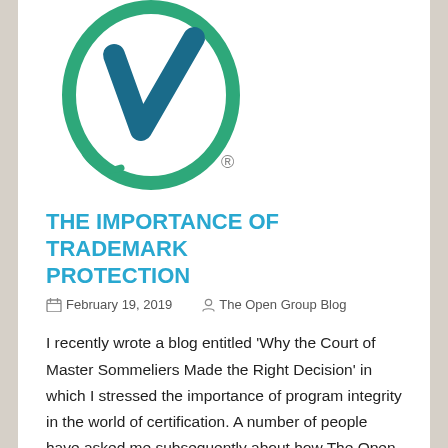[Figure (logo): The Open Group certification logo — a green oval/circle with a dark teal checkmark/V shape inside, and a registered trademark symbol below-right]
THE IMPORTANCE OF TRADEMARK PROTECTION
February 19, 2019   The Open Group Blog
I recently wrote a blog entitled 'Why the Court of Master Sommeliers Made the Right Decision' in which I stressed the importance of program integrity in the world of certification. A number of people have asked me subsequently about how The Open Group goes about building our